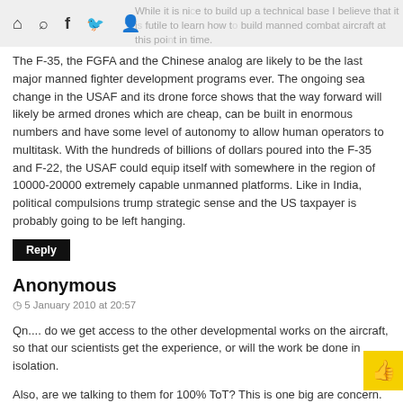While it is nice to build up a technical base I believe that it is futile to learn how to build manned combat aircraft at this point in time.
The F-35, the FGFA and the Chinese analog are likely to be the last major manned fighter development programs ever. The ongoing sea change in the USAF and its drone force shows that the way forward will likely be armed drones which are cheap, can be built in enormous numbers and have some level of autonomy to allow human operators to multitask. With the hundreds of billions of dollars poured into the F-35 and F-22, the USAF could equip itself with somewhere in the region of 10000-20000 extremely capable unmanned platforms. Like in India, political compulsions trump strategic sense and the US taxpayer is probably going to be left hanging.
Reply
Anonymous
5 January 2010 at 20:57
Qn.... do we get access to the other developmental works on the aircraft, so that our scientists get the experience, or will the work be done in isolation.
Also, are we talking to them for 100% ToT? This is one big are concern.